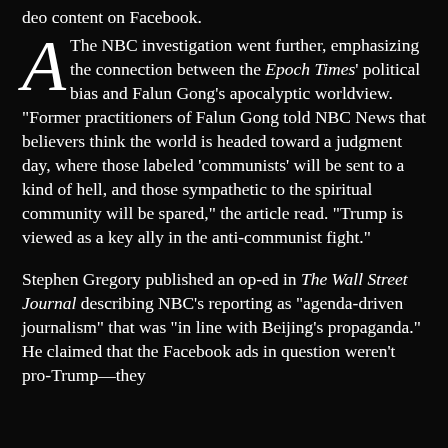deo content on Facebook.
The NBC investigation went further, emphasizing the connection between the Epoch Times' political bias and Falun Gong's apocalyptic worldview. “Former practitioners of Falun Gong told NBC News that believers think the world is headed toward a judgment day, where those labeled ‘communists’ will be sent to a kind of hell, and those sympathetic to the spiritual community will be spared,” the article read. “Trump is viewed as a key ally in the anti-communist fight.”
Stephen Gregory published an op-ed in The Wall Street Journal describing NBC’s reporting as “agenda-driven journalism” that was “in line with Beijing’s propaganda.” He claimed that the Facebook ads in question weren’t pro-Trump—they